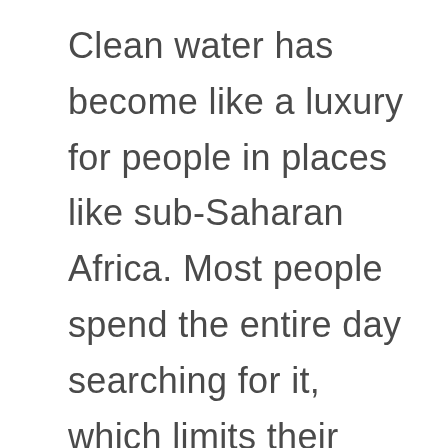Clean water has become like a luxury for people in places like sub-Saharan Africa. Most people spend the entire day searching for it, which limits their ability to try to their hand in some other things. By the year 2025, the situation may become worse when two-thirds of the world's population may face water shortages.